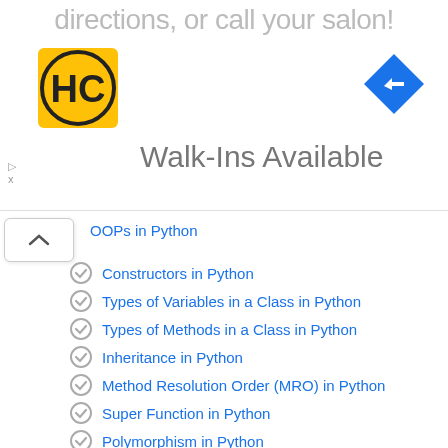[Figure (other): Advertisement banner with HC logo, navigation icon, 'Walk-Ins Available' text and 'directions, or call your salon!' heading]
OOPs in Python (truncated/partially visible)
Constructors in Python
Types of Variables in a Class in Python
Types of Methods in a Class in Python
Inheritance in Python
Method Resolution Order (MRO) in Python
Super Function in Python
Polymorphism in Python
Abstract classes in Python
Interfaces in Python
Python – Exception Handling & Files
Exception Handling in Python
Finally Block in Python
Nested try-except-finally blocks in Python